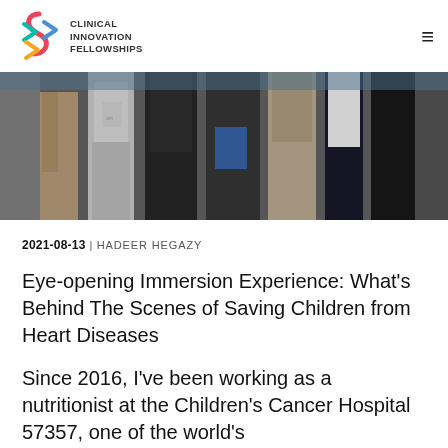CLINICAL INNOVATION FELLOWSHIPS
[Figure (photo): Group of people standing in a healthcare/clinical setting, cropped to show bodies from approximately waist down to mid-torso]
2021-08-13 | HADEER HEGAZY
Eye-opening Immersion Experience: What's Behind The Scenes of Saving Children from Heart Diseases
Since 2016, I've been working as a nutritionist at the Children's Cancer Hospital 57357, one of the world's